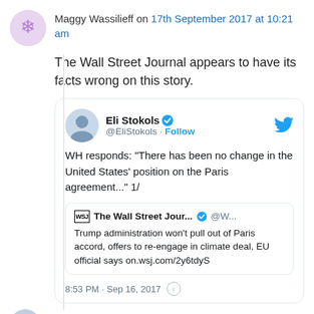Maggy Wassilieff on 17th September 2017 at 10:21 am
The Wall Street Journal appears to have its facts wrong on this story.
[Figure (screenshot): Embedded tweet from @EliStokols: WH responds: "There has been no change in the United States' position on the Paris agreement..." 1/ — quoting a Wall Street Journal tweet: Trump administration won't pull out of Paris accord, offers to re-engage in climate deal, EU official says on.wsj.com/2y6tdyS — timestamped 8:53 PM · Sep 16, 2017]